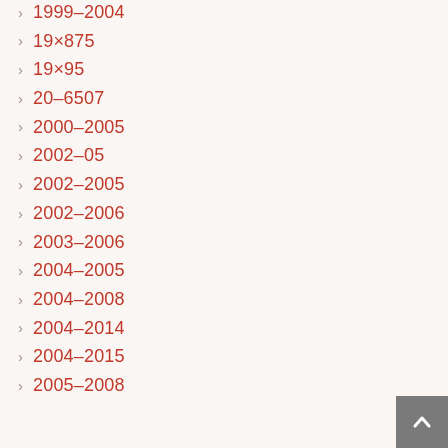1999–2004
19×875
19×95
20–6507
2000–2005
2002–05
2002–2005
2002–2006
2003–2006
2004–2005
2004–2008
2004–2014
2004–2015
2005–2008